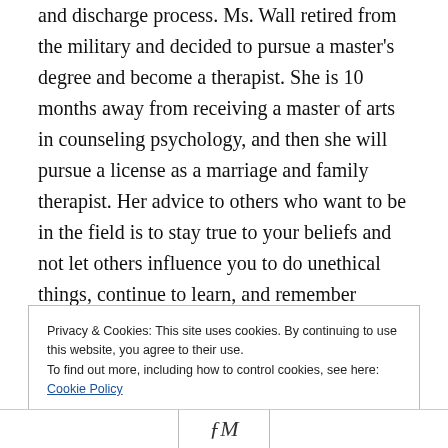and discharge process. Ms. Wall retired from the military and decided to pursue a master's degree and become a therapist. She is 10 months away from receiving a master of arts in counseling psychology, and then she will pursue a license as a marriage and family therapist. Her advice to others who want to be in the field is to stay true to your beliefs and not let others influence you to do unethical things, continue to learn, and remember where you came from instead of becoming a nurse who “eats their young.” She has had several mentors who have influenced her: Jesus; her parents, Edward and Toku; Sandra Llecholech
Privacy & Cookies: This site uses cookies. By continuing to use this website, you agree to their use.
To find out more, including how to control cookies, see here: Cookie Policy
Close and accept